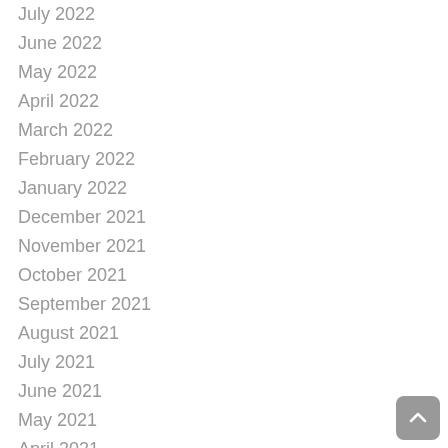July 2022
June 2022
May 2022
April 2022
March 2022
February 2022
January 2022
December 2021
November 2021
October 2021
September 2021
August 2021
July 2021
June 2021
May 2021
April 2021
March 2021
February 2021
January 2021
December 2020
November 2020
October 2020
September 2020